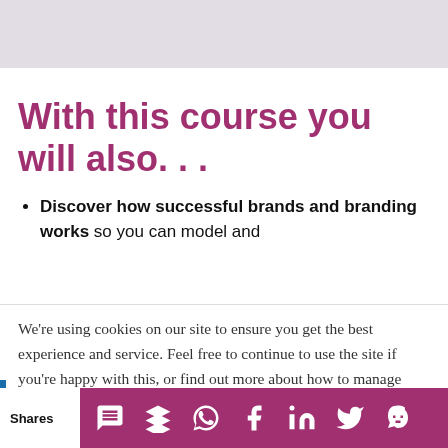[Figure (other): Gray banner at top of page, partial view of a course or website header]
With this course you will also. . .
Discover how successful brands and branding works so you can model and
We're using cookies on our site to ensure you get the best experience and service. Feel free to continue to use the site if you're happy with this, or find out more about how to manage
Shares [social share icons: SMS, Buffer, WhatsApp, Facebook, LinkedIn, Twitter, Evernote]